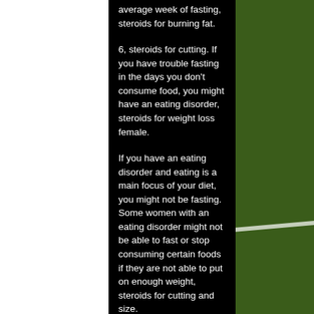average week of fasting, steroids for burning fat.
6, steroids for cutting. If you have trouble fasting in the days you don't consume food, you might have an eating disorder, steroids for weight loss female.
If you have an eating disorder and eating is a main focus of your diet, you might not be fasting. Some women with an eating disorder might not be able to fast or stop consuming certain foods if they are not able to put on enough weight, steroids for cutting and size.
Also: It's OK if you can't fast on certain days.
7. Your body might turn up a little bit in your morning if you take aspirin or ibuprofen while fasting.
Take an aspirin before you fast to prevent